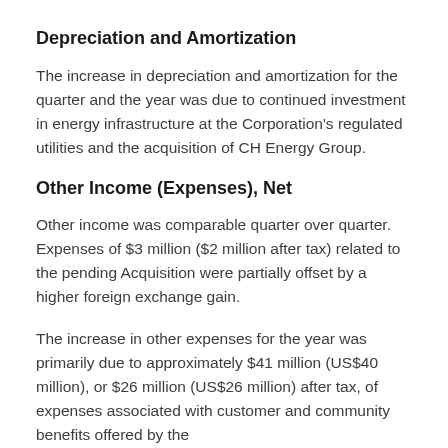Depreciation and Amortization
The increase in depreciation and amortization for the quarter and the year was due to continued investment in energy infrastructure at the Corporation's regulated utilities and the acquisition of CH Energy Group.
Other Income (Expenses), Net
Other income was comparable quarter over quarter. Expenses of $3 million ($2 million after tax) related to the pending Acquisition were partially offset by a higher foreign exchange gain.
The increase in other expenses for the year was primarily due to approximately $41 million (US$40 million), or $26 million (US$26 million) after tax, of expenses associated with customer and community benefits offered by the